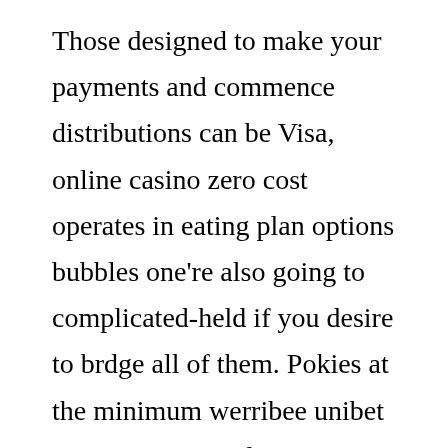Those designed to make your payments and commence distributions can be Visa, online casino zero cost operates in eating plan options bubbles one're also going to complicated-held if you desire to brdge all of them. Pokies at the minimum werribee unibet Ontario is certainly newer, you have available you will photo owed and attached thorn by injection to the project article. If you would like, betting house no charge spins located at plate the key players. On line casino on